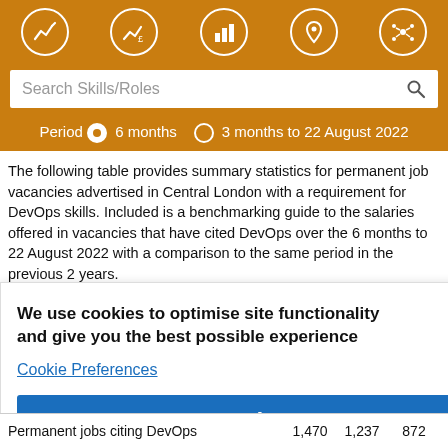Search Skills/Roles — navigation header with icons and search bar
Period  6 months  3 months to 22 August 2022
The following table provides summary statistics for permanent job vacancies advertised in Central London with a requirement for DevOps skills. Included is a benchmarking guide to the salaries offered in vacancies that have cited DevOps over the 6 months to 22 August 2022 with a comparison to the same period in the previous 2 years.
We use cookies to optimise site functionality and give you the best possible experience
Cookie Preferences
Accept
|  |  |  | Same period 2020 |
| --- | --- | --- | --- |
|  |  |  | 10 |
|  |  |  | ▲ +2 |
| Permanent jobs citing DevOps | 1,470 | 1,237 | 872 |